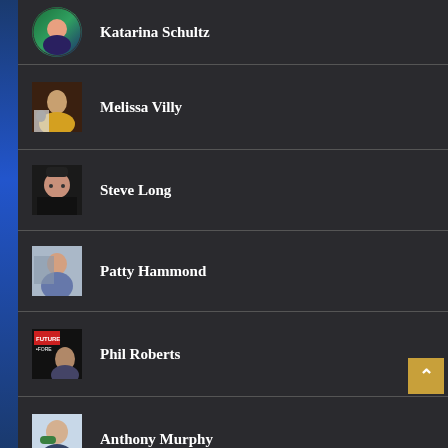Katarina Schultz
Melissa Villy
Steve Long
Patty Hammond
Phil Roberts
Anthony Murphy